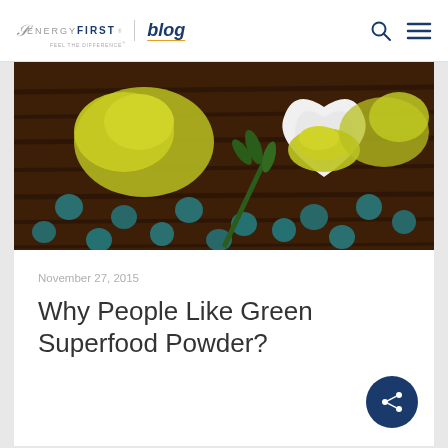EnergyFirst blog
[Figure (photo): Green superfood powder piled on a dark wooden surface with teal/blue supplement tablets scattered around, and a white heart-shaped bowl filled with green powder, with green herb sprigs]
November 27, 2015
Why People Like Green Superfood Powder?